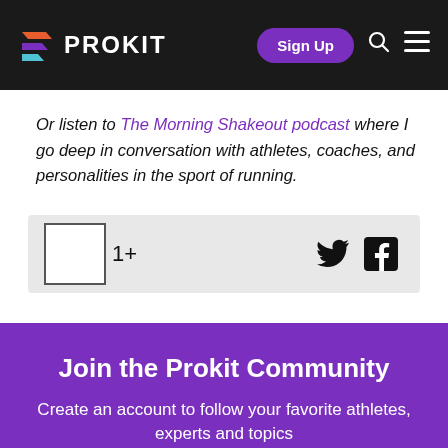PROKIT | Sign Up
Or listen to The Morning Shakeout podcast where I go deep in conversation with athletes, coaches, and personalities in the sport of running.
[Figure (other): Reaction bar with a blank like/reaction box showing '1+' count and Twitter and Facebook share icons on the right]
Join the Prokit Community
Create an account to follow your favorite athletes, experts and topics
Get Started For Free